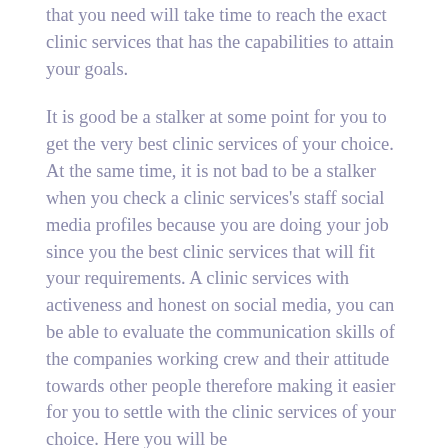that you need will take time to reach the exact clinic services that has the capabilities to attain your goals.
It is good be a stalker at some point for you to get the very best clinic services of your choice. At the same time, it is not bad to be a stalker when you check a clinic services's staff social media profiles because you are doing your job since you the best clinic services that will fit your requirements. A clinic services with activeness and honest on social media, you can be able to evaluate the communication skills of the companies working crew and their attitude towards other people therefore making it easier for you to settle with the clinic services of your choice. Here you will be